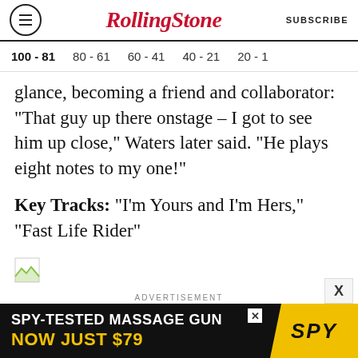RollingStone | SUBSCRIBE
100 - 81
80 - 61
60 - 41
40 - 21
20 - 1
glance, becoming a friend and collaborator: "That guy up there onstage – I got to see him up close," Waters later said. "He plays eight notes to my one!"
Key Tracks: "I'm Yours and I'm Hers," "Fast Life Rider"
[Figure (other): Broken image placeholder icon]
ADVERTISEMENT
[Figure (other): Advertisement banner: SPY-TESTED MASSAGE GUN NOW JUST $79, SPY logo on yellow background]